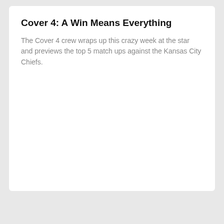Cover 4: A Win Means Everything
The Cover 4 crew wraps up this crazy week at the star and previews the top 5 match ups against the Kansas City Chiefs.